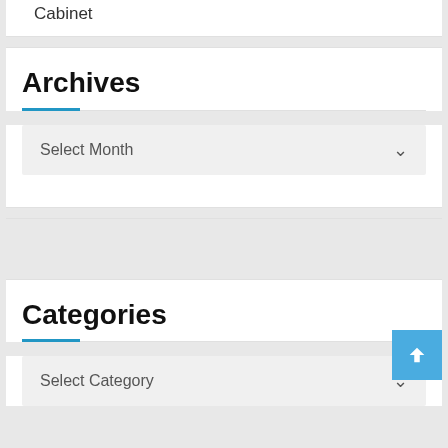Cabinet
Archives
Select Month
Categories
Select Category